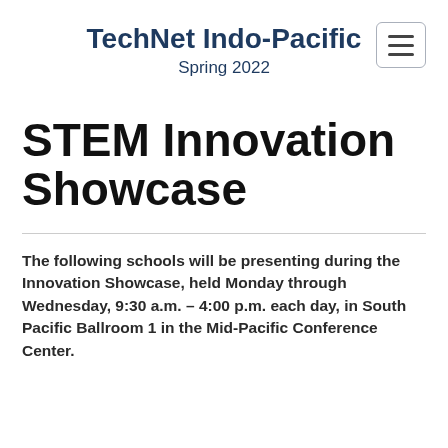TechNet Indo-Pacific
Spring 2022
[Figure (other): Hamburger menu icon button (three horizontal lines in a rounded rectangle border)]
STEM Innovation Showcase
The following schools will be presenting during the Innovation Showcase, held Monday through Wednesday, 9:30 a.m. – 4:00 p.m. each day, in South Pacific Ballroom 1 in the Mid-Pacific Conference Center.